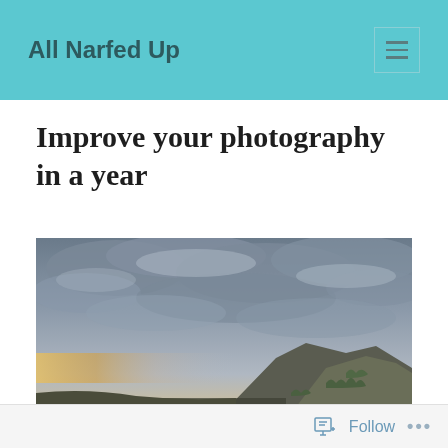All Narfed Up
Improve your photography in a year
[Figure (photo): Landscape photo of a rocky hillside with dramatic cloudy sky at dusk/sunset, warm light on the horizon]
Follow ...